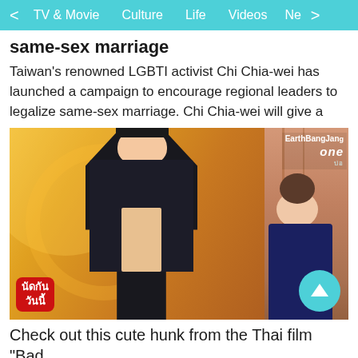< TV & Movie  Culture  Life  Videos  Ne >
same-sex marriage
Taiwan's renowned LGBTI activist Chi Chia-wei has launched a campaign to encourage regional leaders to legalize same-sex marriage. Chi Chia-wei will give a
[Figure (photo): Screenshot from a Thai TV show featuring a young Asian man in a black shirt opening it to show his abs, with a woman with hair in a bun visible on the right. TV show logo 'EarthBangJang one' watermark in top right. Thai program label in bottom left corner. Teal scroll-up button overlay bottom right.]
Check out this cute hunk from the Thai film "Bad